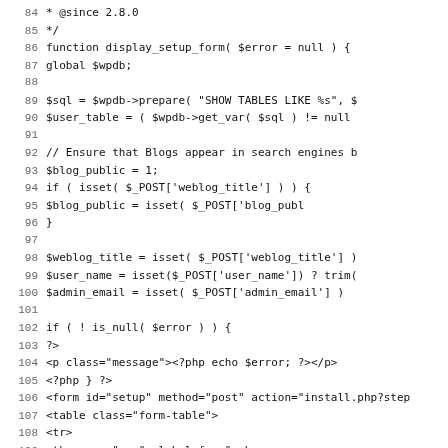Code listing lines 84–115 of a PHP/HTML file (display_setup_form function)
84  * @since 2.8.0
85  */
86 function display_setup_form( $error = null ) {
87         global $wpdb;
88
89         $sql = $wpdb->prepare( "SHOW TABLES LIKE %s", $
90         $user_table = ( $wpdb->get_var( $sql ) != null
91
92         // Ensure that Blogs appear in search engines b
93         $blog_public = 1;
94         if ( isset( $_POST['weblog_title'] ) ) {
95                 $blog_public = isset( $_POST['blog_publ
96         }
97
98         $weblog_title = isset( $_POST['weblog_title'] )
99         $user_name = isset($_POST['user_name']) ? trim(
100        $admin_email  = isset( $_POST['admin_email'] )
101
102        if ( ! is_null( $error ) ) {
103 ?>
104 <p class="message"><?php echo $error; ?></p>
105 <?php } ?>
106 <form id="setup" method="post" action="install.php?step
107        <table class="form-table">
108                <tr>
109                        <th scope="row"><label for="web
110                        <td><input name="weblog_title"
111                </tr>
112                <tr>
113                        <th scope="row"><label for="use
114                        <td>
115                <?php